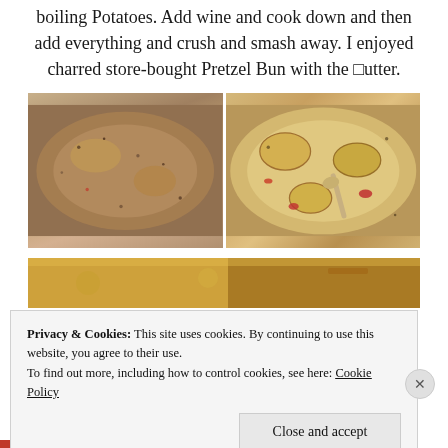boiling Potatoes. Add wine and cook down and then add everything and crush and smash away. I enjoyed charred store-bought Pretzel Bun with the butter.
[Figure (photo): Two side-by-side food photos showing a creamy potato dish being cooked in a pot. Left image shows the dish with minced toppings, right image shows larger potato pieces in creamy sauce with red pepper pieces.]
[Figure (photo): Partially visible food photo at the bottom, showing what appears to be a baked or grilled dish.]
Privacy & Cookies: This site uses cookies. By continuing to use this website, you agree to their use.
To find out more, including how to control cookies, see here: Cookie Policy
Close and accept